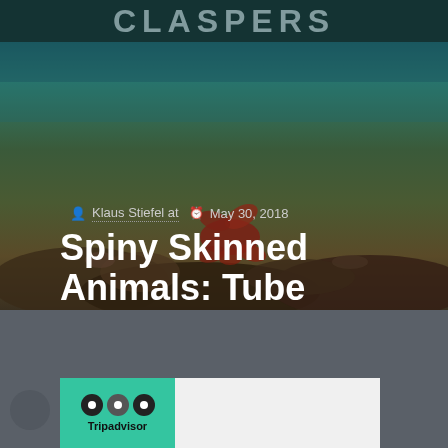[Figure (photo): Underwater photo showing coral reef with a red spiny sea creature, dark teal ocean background. Partial text 'CLASPERS' visible at top.]
Klaus Stiefel at  May 30, 2018
Spiny Skinned Animals: Tube Feet
TripAdvisor Dahon
[Figure (logo): TripAdvisor logo widget: green box with owl-like circles logo and 'Tripadvisor' text, next to a white content box.]